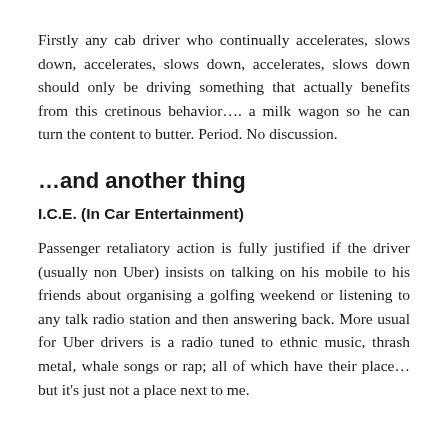Firstly any cab driver who continually accelerates, slows down, accelerates, slows down, accelerates, slows down should only be driving something that actually benefits from this cretinous behavior…. a milk wagon so he can turn the content to butter. Period. No discussion.
…and another thing
I.C.E. (In Car Entertainment)
Passenger retaliatory action is fully justified if the driver (usually non Uber) insists on talking on his mobile to his friends about organising a golfing weekend or listening to any talk radio station and then answering back. More usual for Uber drivers is a radio tuned to ethnic music, thrash metal, whale songs or rap; all of which have their place… but it's just not a place next to me.